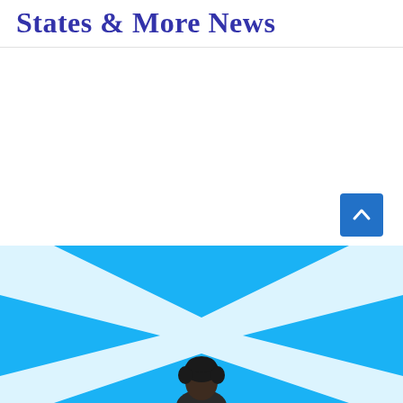States & More News
[Figure (photo): Partial view of a person in front of a blue background with white X-shaped chevron pattern resembling a Scottish flag (saltire), with a scroll-to-top button visible in the lower right corner.]